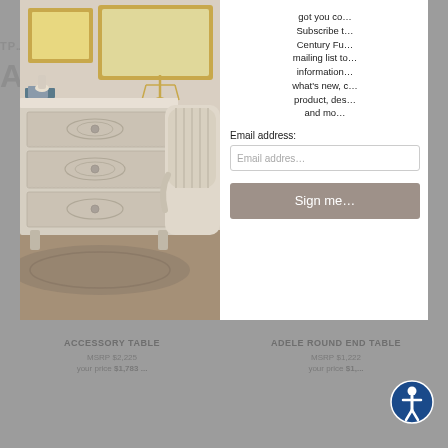[Figure (photo): Photo of ornate antique chest of drawers with carved floral details and a beige upholstered armchair in background, in a room setting]
got you co... Subscribe t... Century Fu... mailing list to... information... what's new, c... product, des... and mo...
Email address:
Email addres...
Sign me...
ACCESSORY TABLE
MSRP $2,225
your price $1,783...
ADELE ROUND END TABLE
MSRP $1,222
your price $1,...